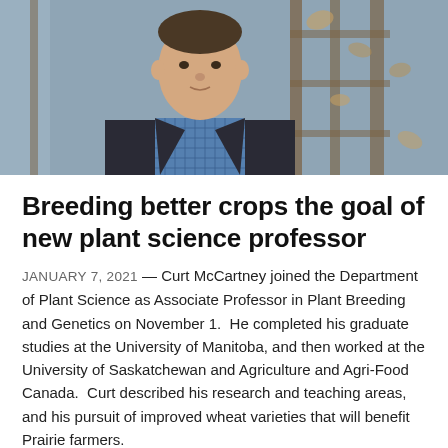[Figure (photo): Portrait photo of Curt McCartney, a man in a dark coat and blue checked shirt, standing outdoors in front of a wooden trellis with dried vines.]
Breeding better crops the goal of new plant science professor
JANUARY 7, 2021 — Curt McCartney joined the Department of Plant Science as Associate Professor in Plant Breeding and Genetics on November 1.  He completed his graduate studies at the University of Manitoba, and then worked at the University of Saskatchewan and Agriculture and Agri-Food Canada.  Curt described his research and teaching areas, and his pursuit of improved wheat varieties that will benefit Prairie farmers.